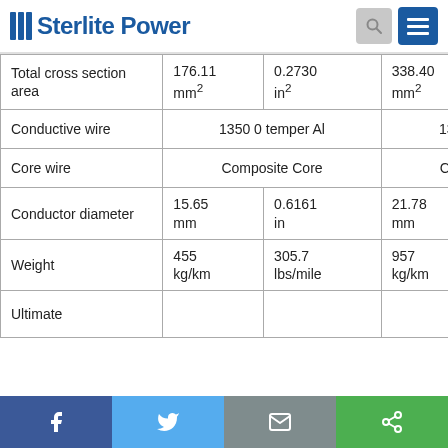///Sterlite Power
|  | Col1-a | Col1-b | Col2-a | Col2-b |
| --- | --- | --- | --- | --- |
| Total cross section area | 176.11 mm² | 0.2730 in² | 338.40 mm² | 0.5553 in² |
| Conductive wire | 1350 0 temper Al |  | 1350 0 temper Al |  |
| Core wire | Composite Core |  | Composite Core |  |
| Conductor diameter | 15.65 mm | 0.6161 in | 21.78 mm | 0.8575 in |
| Weight | 455 kg/km | 305.7 lbs/mile | 957 kg/km | 642.8 lbs/mile |
| Ultimate |  |  |  |  |
Share buttons: Facebook, Twitter, Email, Share